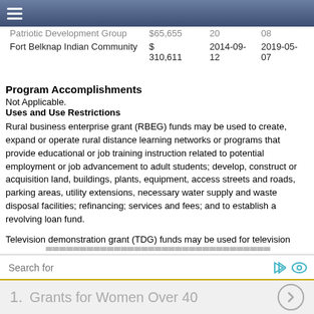≡ (navigation menu)
|  | Amount | Start Date | End Date |
| --- | --- | --- | --- |
| Patriotic Development Group | $65,655 | 20 | 08 |
| Fort Belknap Indian Community | $ 310,611 | 2014-09-12 | 2019-05-07 |
Program Accomplishments
Not Applicable.
Uses and Use Restrictions
Rural business enterprise grant (RBEG) funds may be used to create, expand or operate rural distance learning networks or programs that provide educational or job training instruction related to potential employment or job advancement to adult students; develop, construct or acquisition land, buildings, plants, equipment, access streets and roads, parking areas, utility extensions, necessary water supply and waste disposal facilities; refinancing; services and fees; and to establish a revolving loan fund.
Television demonstration grant (TDG) funds may be used for television
Search for | 1. Grants for Women Over 40